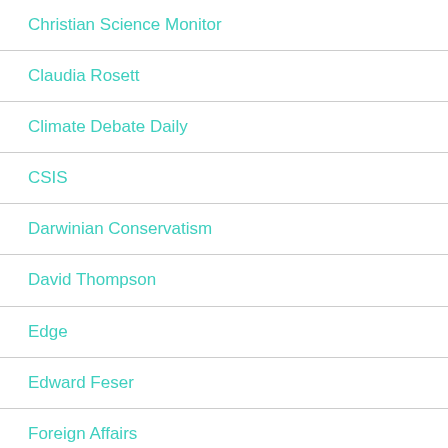Christian Science Monitor
Claudia Rosett
Climate Debate Daily
CSIS
Darwinian Conservatism
David Thompson
Edge
Edward Feser
Foreign Affairs